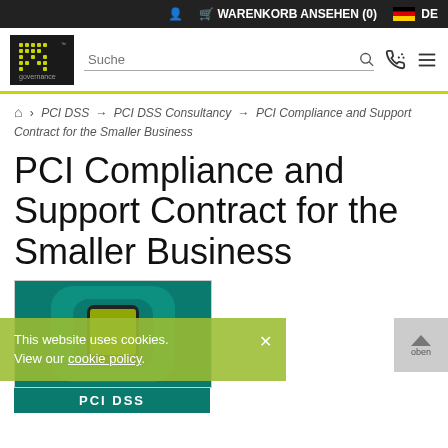WARENKORB ANSEHEN (0)  DE
[Figure (logo): IT Governance logo - dark background with dot-matrix style text]
Suche
Home > PCI DSS → PCI DSS Consultancy → PCI Compliance and Support Contract for the Smaller Business
PCI Compliance and Support Contract for the Smaller Business
[Figure (photo): PCI DSS product book/guide shown on mobile device, teal/green cover]
This website uses cookies. View our cookie policy. ×
PCI DSS